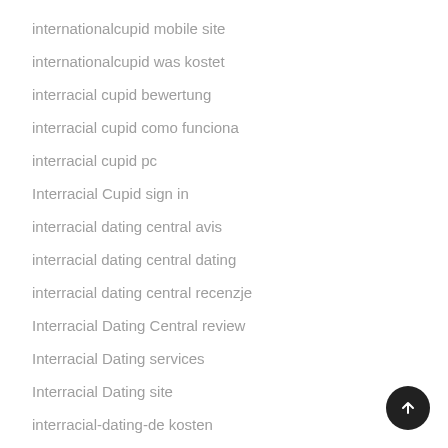internationalcupid mobile site
internationalcupid was kostet
interracial cupid bewertung
interracial cupid como funciona
interracial cupid pc
Interracial Cupid sign in
interracial dating central avis
interracial dating central dating
interracial dating central recenzje
Interracial Dating Central review
Interracial Dating services
Interracial Dating site
interracial-dating-de kosten